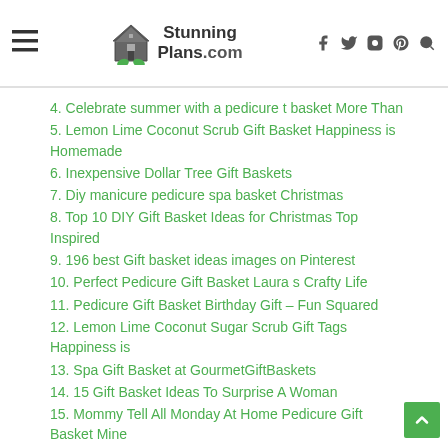StunningPlans.com
4. Celebrate summer with a pedicure t basket More Than
5. Lemon Lime Coconut Scrub Gift Basket Happiness is Homemade
6. Inexpensive Dollar Tree Gift Baskets
7. Diy manicure pedicure spa basket Christmas
8. Top 10 DIY Gift Basket Ideas for Christmas Top Inspired
9. 196 best Gift basket ideas images on Pinterest
10. Perfect Pedicure Gift Basket Laura s Crafty Life
11. Pedicure Gift Basket Birthday Gift – Fun Squared
12. Lemon Lime Coconut Sugar Scrub Gift Tags Happiness is
13. Spa Gift Basket at GourmetGiftBaskets
14. 15 Gift Basket Ideas To Surprise A Woman
15. Mommy Tell All Monday At Home Pedicure Gift Basket Mine
16. Diy manicure pedicure spa basket Debbiedoos
17. Celebrate summer with a pedicure t basket More Than